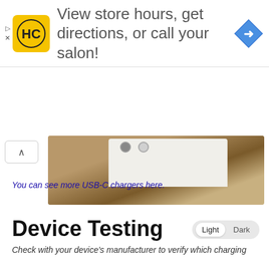[Figure (screenshot): Advertisement banner with HC logo and navigation icon. Text: 'View store hours, get directions, or call your salon!']
[Figure (photo): Product photo showing a white USB-C charger on a wooden surface, with an up-arrow button and two pagination dots.]
You can see more USB-C chargers here.
Device Testing
Check with your device's manufacturer to verify which charging